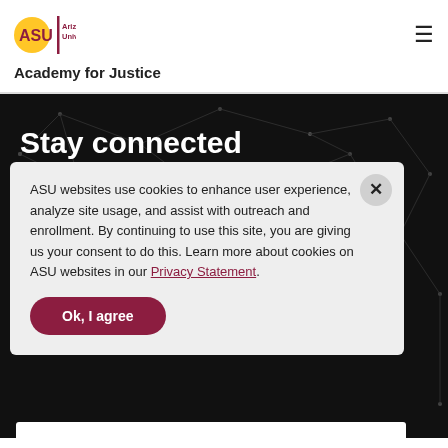[Figure (logo): Arizona State University ASU logo with gold sunburst and maroon ASU text, followed by 'Arizona State University' text]
Academy for Justice
[Figure (screenshot): Dark background with network/constellation dot-and-line pattern]
Stay connected
ASU websites use cookies to enhance user experience, analyze site usage, and assist with outreach and enrollment. By continuing to use this site, you are giving us your consent to do this. Learn more about cookies on ASU websites in our Privacy Statement.
Ok, I agree